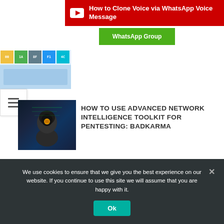[Figure (screenshot): YouTube-style red banner with play icon and text: How to Clone Voice via WhatsApp Voice Message]
WhatsApp Group
[Figure (screenshot): Hex color codes image showing colored cells: 00, 1A, 8F, F1, 4C, C6]
[Figure (screenshot): Hamburger menu icon (three horizontal lines)]
[Figure (photo): Hooded hacker figure with glowing elements on dark background]
HOW TO USE ADVANCED NETWORK INTELLIGENCE TOOLKIT FOR PENTESTING: BADKARMA
[Figure (photo): Person in dark clothing holding a mobile phone]
TUTORIAL FOR PENTESTING ANDROID APPS USING THE FREE ZANTI TOOLKIT
We use cookies to ensure that we give you the best experience on our website. If you continue to use this site we will assume that you are happy with it.
Ok